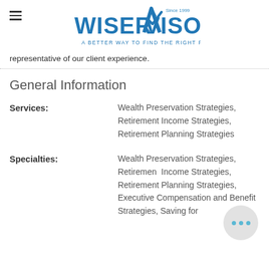WiserAdvisor — A BETTER WAY TO FIND THE RIGHT FINANCIAL ADVISOR (Since 1999)
representative of our client experience.
General Information
Services: Wealth Preservation Strategies, Retirement Income Strategies, Retirement Planning Strategies
Specialties: Wealth Preservation Strategies, Retirement Income Strategies, Retirement Planning Strategies, Executive Compensation and Benefit Strategies, Saving for…